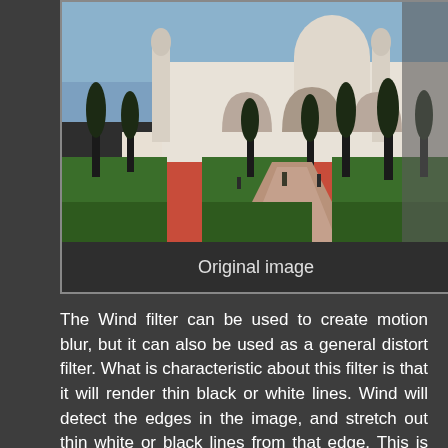[Figure (photo): Photograph of the Taj Mahal with gardens, cypress trees, and a walkway leading to the monument. The image appears cropped/partially cut on the right side. Below the photo is a dark caption bar reading 'Original image'.]
Original image
The Wind filter can be used to create motion blur, but it can also be used as a general distort filter. What is characteristic about this filter is that it will render thin black or white lines. Wind will detect the edges in the image, and stretch out thin white or black lines from that edge. This is why you can create the illusion of